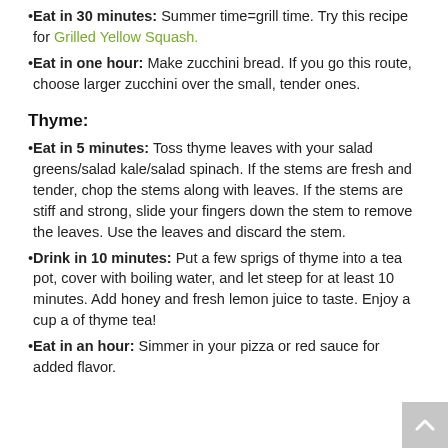Eat in 30 minutes: Summer time=grill time. Try this recipe for Grilled Yellow Squash.
Eat in one hour: Make zucchini bread. If you go this route, choose larger zucchini over the small, tender ones.
Thyme:
Eat in 5 minutes: Toss thyme leaves with your salad greens/salad kale/salad spinach. If the stems are fresh and tender, chop the stems along with leaves. If the stems are stiff and strong, slide your fingers down the stem to remove the leaves. Use the leaves and discard the stem.
Drink in 10 minutes: Put a few sprigs of thyme into a tea pot, cover with boiling water, and let steep for at least 10 minutes. Add honey and fresh lemon juice to taste. Enjoy a cup a of thyme tea!
Eat in an hour: Simmer in your pizza or red sauce for added flavor.